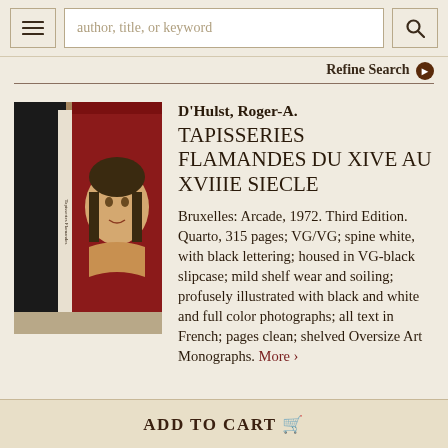author, title, or keyword [search bar] | Refine Search
[Figure (photo): Photo of a book with black cover in a slipcase, showing a decorative illustration of a woman's face on a red background on the back cover.]
D'Hulst, Roger-A.
TAPISSERIES FLAMANDES DU XIVE AU XVIIIE SIECLE
Bruxelles: Arcade, 1972. Third Edition. Quarto, 315 pages; VG/VG; spine white, with black lettering; housed in VG-black slipcase; mild shelf wear and soiling; profusely illustrated with black and white and full color photographs; all text in French; pages clean; shelved Oversize Art Monographs. More >
ADD TO CART